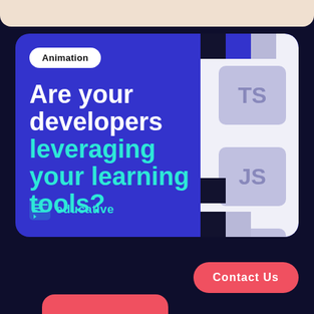[Figure (infographic): Educative platform advertisement card on dark navy background. Shows 'Animation' badge, headline 'Are your developers leveraging your learning tools?', Educative logo, decorative TS/JS/CSS language icons on right side, and a Contact Us button.]
Animation
Are your developers leveraging your learning tools?
educative
Contact Us